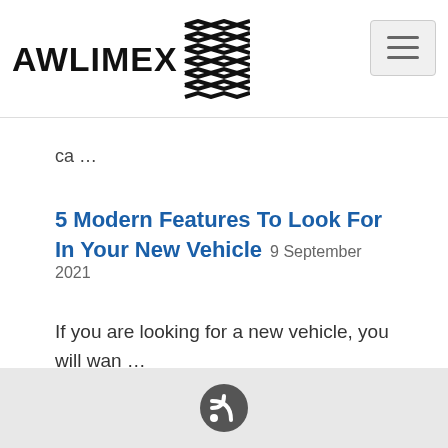AWLIMEX [logo with tire tread graphic] [hamburger menu button]
ca …
5 Modern Features To Look For In Your New Vehicle  9 September 2021
If you are looking for a new vehicle, you will wan …
[RSS icon]